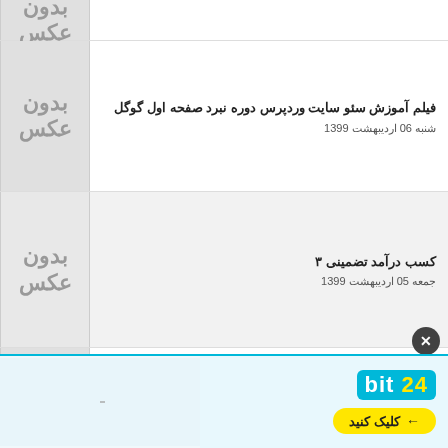بدون عکس (partial top row)
فیلم آموزش سئو سایت وردپرس دوره نبرد صفحه اول گوگل — شنبه 06 اردیبهشت 1399
کسب درآمد تضمینی ۳ — جمعه 05 اردیبهشت 1399
گوگل اد — چهارشنبه 03 اردیبهشت 1399
هندزفری بلوتوث طرح اپل ایرپاد – Airpods i7s — یکشنبه 31 فروردین 1399
کسب درآمد تضمینی ۲ — جمعه 29 فروردین 1399
[Figure (infographic): Advertisement banner for bit24 with yellow click button and light blue background]